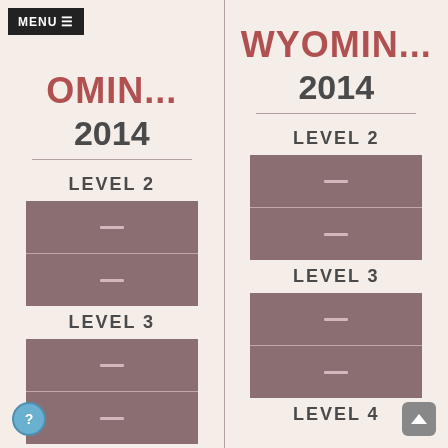MENU ≡
WYOMIN... 2014
WYOMIN... 2014
LEVEL 2
LEVEL 2
LEVEL 3
LEVEL 3
LEVEL 4
LEVEL 4